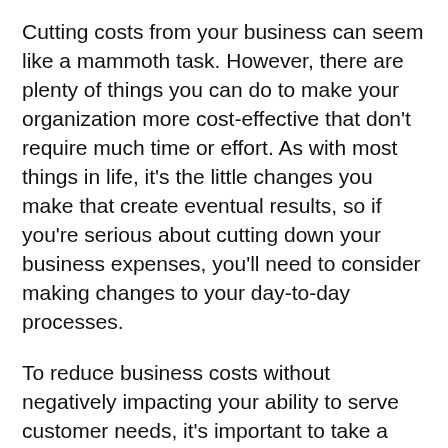Cutting costs from your business can seem like a mammoth task. However, there are plenty of things you can do to make your organization more cost-effective that don't require much time or effort. As with most things in life, it's the little changes you make that create eventual results, so if you're serious about cutting down your business expenses, you'll need to consider making changes to your day-to-day processes.
To reduce business costs without negatively impacting your ability to serve customer needs, it's important to take a methodical approach. Start by reviewing all of your business expenses to identify those that could be removed with little negative effect.  For example, do you take your employees out for dinner once a month, or hold regular office functions? Minimize these expenses or cut them altogether, then it's time to look at other areas